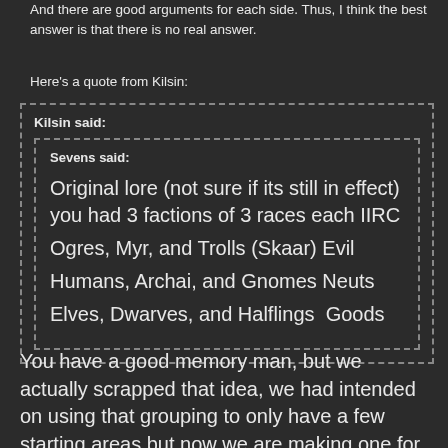And there are good arguments for each side. Thus, I think the best answer is that there is no real answer.
Here's a quote from Kilsin:
Kilsin said:
Sevens said:
Original lore (not sure if its still in effect) you had 3 factions of 3 races each IIRC
Ogres, Myr, and Trolls (Skaar) Evil
Humans, Archai, and Gnomes Neuts
Elves, Dwarves, and Halflings  Goods
You have a good memory man, but we actually scrapped that idea, we had intended on using that grouping to only have a few starting areas but now we are making one for each race, so it is back to being open and not locked to specific groups. ;)